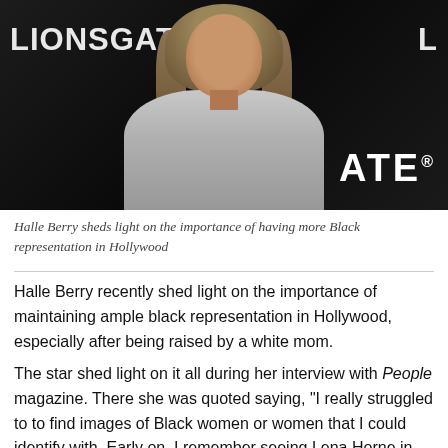[Figure (photo): Photo of Halle Berry at a Lionsgate event, wearing a silver/metallic outfit, with long wavy hair, smiling, against a dark backdrop with Lionsgate branding visible]
Halle Berry sheds light on the importance of having more Black representation in Hollywood
Halle Berry recently shed light on the importance of maintaining ample black representation in Hollywood, especially after being raised by a white mom.
The star shed light on it all during her interview with People magazine. There she was quoted saying, "I really struggled to to find images of Black women or women that I could identify with. Early on, I remember seeing Lena Horne in Stormy Weather, I remember